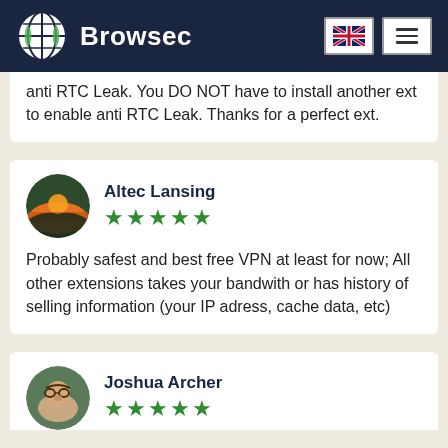Browsec
anti RTC Leak. You DO NOT have to install another ext to enable anti RTC Leak. Thanks for a perfect ext.
Altec Lansing ★★★★★
Probably safest and best free VPN at least for now; All other extensions takes your bandwith or has history of selling information (your IP adress, cache data, etc)
Joshua Archer ★★★★★